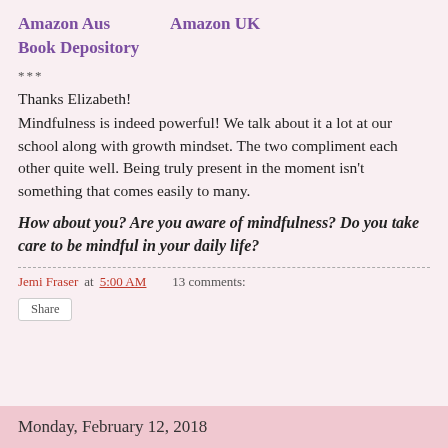Amazon Aus    Amazon UK
Book Depository
***
Thanks Elizabeth!
Mindfulness is indeed powerful! We talk about it a lot at our school along with growth mindset. The two compliment each other quite well. Being truly present in the moment isn't something that comes easily to many.
How about you? Are you aware of mindfulness? Do you take care to be mindful in your daily life?
Jemi Fraser at 5:00 AM    13 comments:
Share
Monday, February 12, 2018